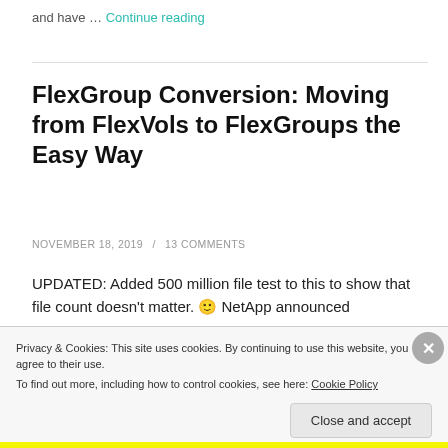and have … Continue reading
FlexGroup Conversion: Moving from FlexVols to FlexGroups the Easy Way
NOVEMBER 18, 2019 / 13 COMMENTS
UPDATED: Added 500 million file test to this to show that file count doesn't matter. 🙂 NetApp announced
Privacy & Cookies: This site uses cookies. By continuing to use this website, you agree to their use.
To find out more, including how to control cookies, see here: Cookie Policy
Close and accept